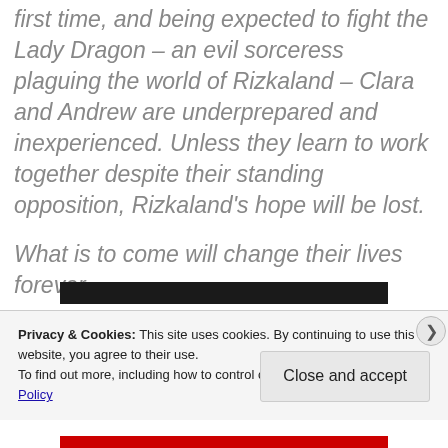first time, and being expected to fight the Lady Dragon – an evil sorceress plaguing the world of Rizkaland – Clara and Andrew are underprepared and inexperienced. Unless they learn to work together despite their standing opposition, Rizkaland's hope will be lost.

What is to come will change their lives forever.
Privacy & Cookies: This site uses cookies. By continuing to use this website, you agree to their use. To find out more, including how to control cookies, see here: Cookie Policy